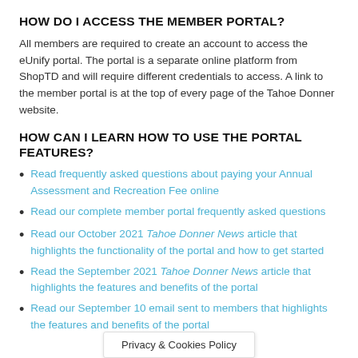HOW DO I ACCESS THE MEMBER PORTAL?
All members are required to create an account to access the eUnify portal. The portal is a separate online platform from ShopTD and will require different credentials to access. A link to the member portal is at the top of every page of the Tahoe Donner website.
HOW CAN I LEARN HOW TO USE THE PORTAL FEATURES?
Read frequently asked questions about paying your Annual Assessment and Recreation Fee online
Read our complete member portal frequently asked questions
Read our October 2021 Tahoe Donner News article that highlights the functionality of the portal and how to get started
Read the September 2021 Tahoe Donner News article that highlights the features and benefits of the portal
Read our September 10 email sent to members that highlights the features and benefits of the portal
Privacy & Cookies Policy